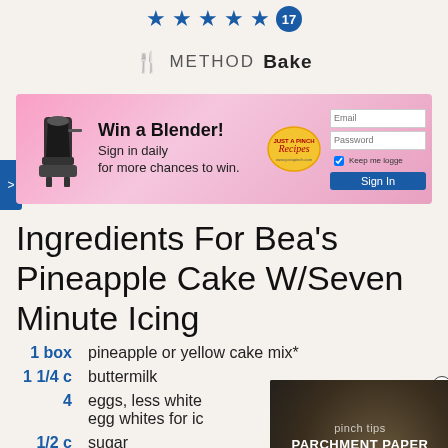[Figure (other): Five blue star rating icons followed by a blue circle badge with the number 17]
METHOD  Bake
[Figure (other): Pink advertisement banner: Win a Blender! Sign in daily for more chances to win. With blender image, Just A Pinch Recipes logo, email/password form fields, Keep me logged in checkbox, and Sign In button]
Ingredients For Bea's Pineapple Cake W/Seven Minute Icing
1 box  pineapple or yellow cake mix*
1 1/4 c  buttermilk
4  eggs, less whites; save egg whites for icing
1/2 c  sugar
1/2 c  oil
[Figure (screenshot): Video overlay showing 'pinch tips PARCHMENT PAPER VS WAX PAPER' with a play button, showing cookies on parchment paper background]